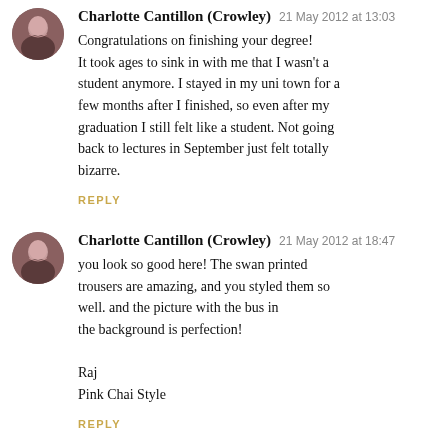Charlotte Cantillon (Crowley) 21 May 2012 at 13:03
Congratulations on finishing your degree! It took ages to sink in with me that I wasn't a student anymore. I stayed in my uni town for a few months after I finished, so even after my graduation I still felt like a student. Not going back to lectures in September just felt totally bizarre.
REPLY
Charlotte Cantillon (Crowley) 21 May 2012 at 18:47
you look so good here! The swan printed trousers are amazing, and you styled them so well. and the picture with the bus in the background is perfection!

Raj
Pink Chai Style
REPLY
Charlotte Cantillon (Crowley) 21 May 2012 at 21:34